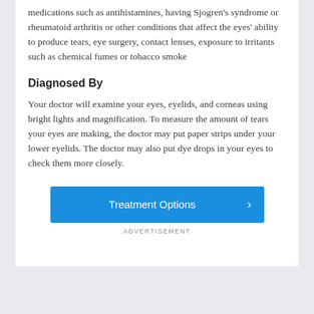medications such as antihistamines, having Sjogren's syndrome or rheumatoid arthritis or other conditions that affect the eyes' ability to produce tears, eye surgery, contact lenses, exposure to irritants such as chemical fumes or tobacco smoke
Diagnosed By
Your doctor will examine your eyes, eyelids, and corneas using bright lights and magnification. To measure the amount of tears your eyes are making, the doctor may put paper strips under your lower eyelids. The doctor may also put dye drops in your eyes to check them more closely.
[Figure (other): Blue button labeled 'Treatment Options' with a right-pointing chevron arrow]
ADVERTISEMENT